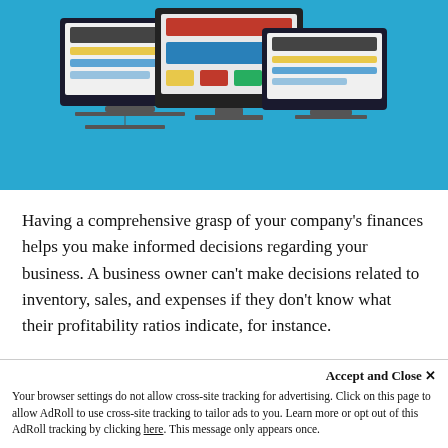[Figure (illustration): Illustration on blue background showing three computer monitors displaying dashboard/chart interfaces, representing accounting or financial software]
Having a comprehensive grasp of your company's finances helps you make informed decisions regarding your business. A business owner can't make decisions related to inventory, sales, and expenses if they don't know what their profitability ratios indicate, for instance.
In such cases, accounting software is a must-have! Not only does it help you understand your financial position better, but it also aids you with real-time sy...
Accept and Close ✕
Your browser settings do not allow cross-site tracking for advertising. Click on this page to allow AdRoll to use cross-site tracking to tailor ads to you. Learn more or opt out of this AdRoll tracking by clicking here. This message only appears once.